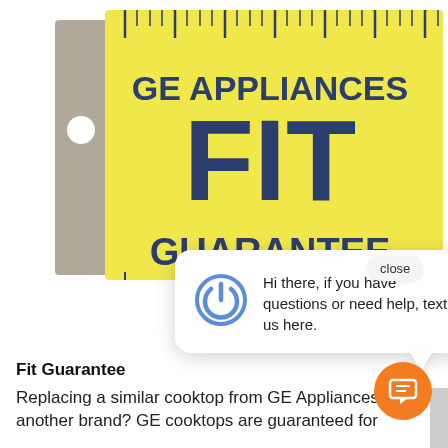[Figure (illustration): GE Appliances FIT Guarantee ruler/tag graphic with yellow background, dark navy bold text reading 'GE APPLIANCES FIT GUARANTEE', ruler markings along the top edge, with a gray tab on the left side containing a circular hole.]
close
Hi there, if you have questions or need help, text us here.
Fit Guarantee
Replacing a similar cooktop from GE Appliances or another brand? GE cooktops are guaranteed for